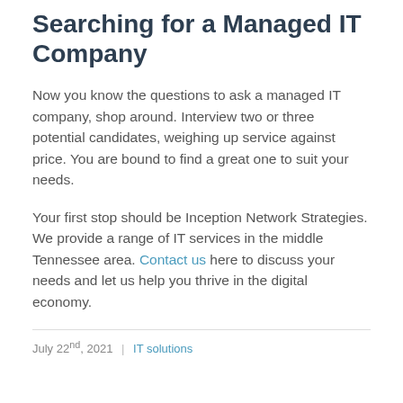Searching for a Managed IT Company
Now you know the questions to ask a managed IT company, shop around. Interview two or three potential candidates, weighing up service against price. You are bound to find a great one to suit your needs.
Your first stop should be Inception Network Strategies. We provide a range of IT services in the middle Tennessee area. Contact us here to discuss your needs and let us help you thrive in the digital economy.
July 22nd, 2021  |  IT solutions